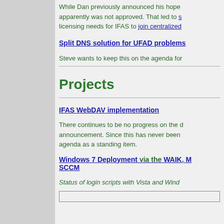While Dan previously announced his hope apparently was not approved. That led to s licensing needs for IFAS to join centralized
Split DNS solution for UFAD problems
Steve wants to keep this on the agenda for
Projects
IFAS WebDAV implementation
There continues to be no progress on the announcement. Since this has never been agenda as a standing item.
Windows 7 Deployment via the WAIK, M SCCM
Status of login scripts with Vista and Wind